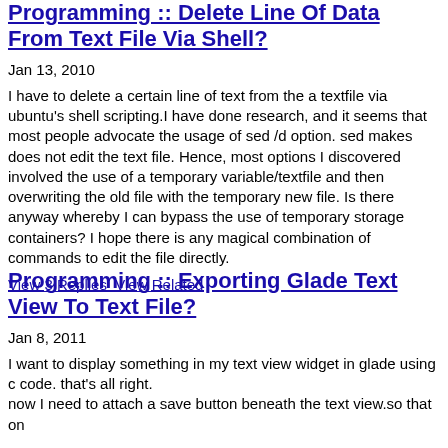Programming :: Delete Line Of Data From Text File Via Shell?
Jan 13, 2010
I have to delete a certain line of text from the a textfile via ubuntu's shell scripting.I have done research, and it seems that most people advocate the usage of sed /d option. sed makes does not edit the text file. Hence, most options I discovered involved the use of a temporary variable/textfile and then overwriting the old file with the temporary new file. Is there anyway whereby I can bypass the use of temporary storage containers? I hope there is any magical combination of commands to edit the file directly.
View 3 Replies   View Related
Programming :: Exporting Glade Text View To Text File?
Jan 8, 2011
I want to display something in my text view widget in glade using c code. that's all right.
now I need to attach a save button beneath the text view.so that on